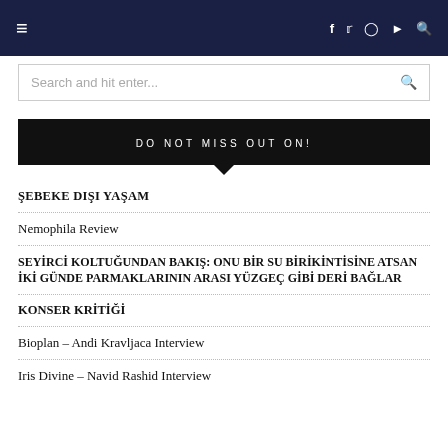Navigation bar with hamburger menu and social icons (f, twitter, instagram, youtube, search)
Search and hit enter...
DO NOT MISS OUT ON!
ŞEBEKE DIŞI YAŞAM
Nemophila Review
SEYİRCİ KOLTUĞUNDAN BAKIŞ: ONU BİR SU BİRİKİNTİSİNE ATSAN İKİ GÜNDE PARMAKLARININ ARASI YÜZGEÇ GİBİ DERİ BAĞLAR
KONSER KRİTİĞİ
Bioplan – Andi Kravljaca Interview
Iris Divine – Navid Rashid Interview